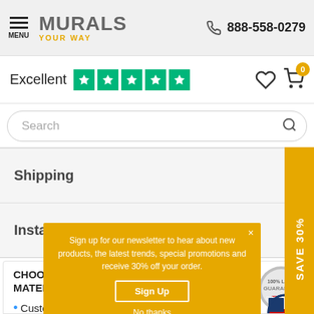MENU  MURALS YOUR WAY  888-558-0279
Excellent  ★★★★★
Search
Shipping
Installation
CHOOSE YOUR SIZE, SELECT YOUR MATERIAL, AND THEN CUSTOMIZE THE LOOK
Custo...
Sign up for our newsletter to hear about new products, the latest trends, special promotions and receive 30% off your order.
Sign Up
No thanks